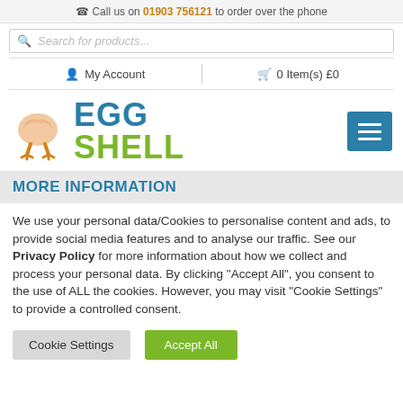Call us on 01903 756121 to order over the phone
Search for products...
My Account | 0 Item(s) £0
[Figure (logo): Egg Shell logo with illustrated cracked egg and orange chicken legs, teal EGG text and green SHELL text]
MORE INFORMATION
We use your personal data/Cookies to personalise content and ads, to provide social media features and to analyse our traffic. See our Privacy Policy for more information about how we collect and process your personal data. By clicking “Accept All”, you consent to the use of ALL the cookies. However, you may visit "Cookie Settings" to provide a controlled consent.
Cookie Settings | Accept All